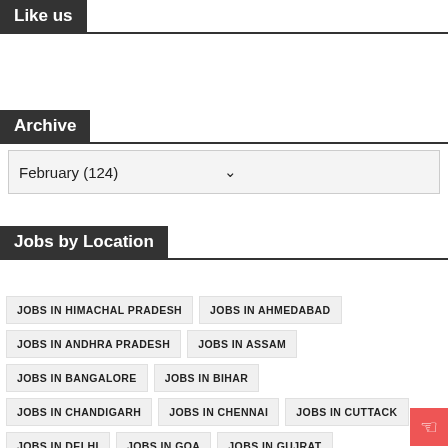Like us
Archive
February (124)
Jobs by Location
JOBS IN HIMACHAL PRADESH
JOBS IN AHMEDABAD
JOBS IN ANDHRA PRADESH
JOBS IN ASSAM
JOBS IN BANGALORE
JOBS IN BIHAR
JOBS IN CHANDIGARH
JOBS IN CHENNAI
JOBS IN CUTTACK
JOBS IN DELHI
JOBS IN GOA
JOBS IN GUJRAT
JOBS IN HARYANA
JOBS IN HYDERABAD
JOBS IN INDIA